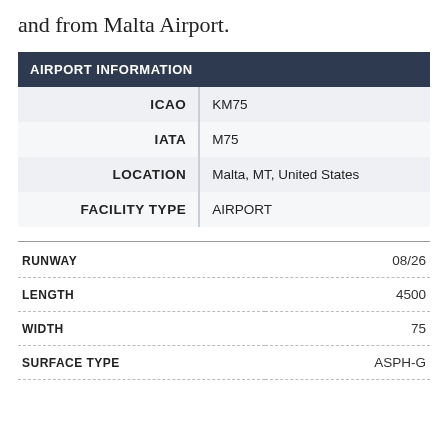and from Malta Airport.
| AIRPORT INFORMATION |  |
| --- | --- |
| ICAO | KM75 |
| IATA | M75 |
| LOCATION | Malta, MT, United States |
| FACILITY TYPE | AIRPORT |
| RUNWAY | 08/26 |
| --- | --- |
| LENGTH | 4500 |
| WIDTH | 75 |
| SURFACE TYPE | ASPH-G |